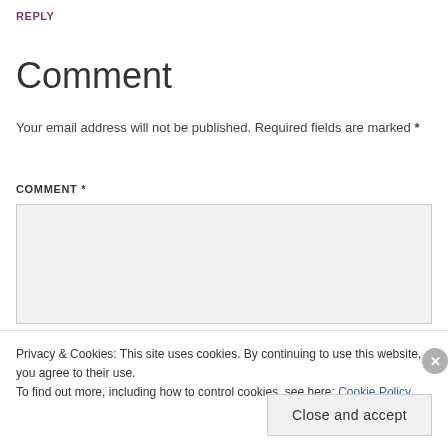REPLY
Comment
Your email address will not be published. Required fields are marked *
COMMENT *
[Figure (other): Comment textarea input field with light gray background]
Privacy & Cookies: This site uses cookies. By continuing to use this website, you agree to their use. To find out more, including how to control cookies, see here: Cookie Policy
Close and accept